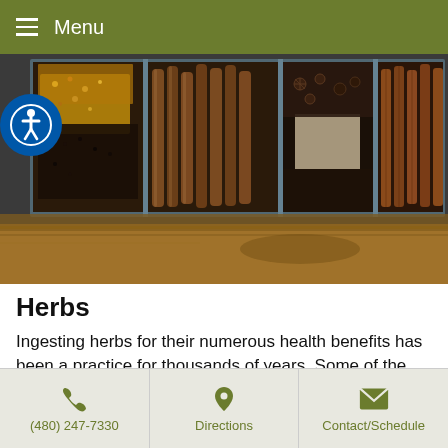Menu
[Figure (photo): Overhead view of a wooden tray with multiple compartments containing various dried herbs and spices including seeds, licorice sticks, star anise, and cinnamon sticks. Accessibility icon visible on left side.]
Herbs
Ingesting herbs for their numerous health benefits has been a practice for thousands of years. Some of the favorites for acupuncturists include licorice root (gan cao), Chinese wolfberry (gou qi zi), cinnamon twigs (gui
(480) 247-7330  Directions  Contact/Schedule